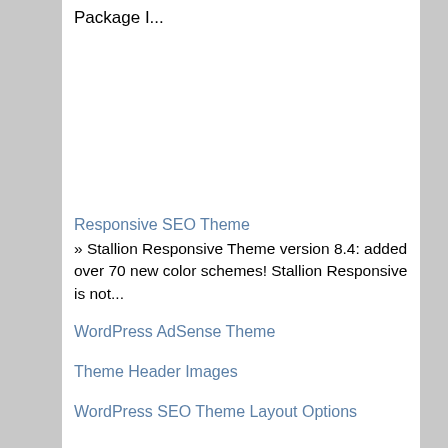Package I...
Responsive SEO Theme
» Stallion Responsive Theme version 8.4: added over 70 new color schemes! Stallion Responsive is not...
WordPress AdSense Theme
Theme Header Images
WordPress SEO Theme Layout Options